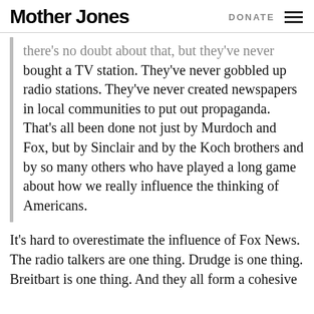Mother Jones | DONATE
there's no doubt about that, but they've never bought a TV station. They've never gobbled up radio stations. They've never created newspapers in local communities to put out propaganda. That's all been done not just by Murdoch and Fox, but by Sinclair and by the Koch brothers and by so many others who have played a long game about how we really influence the thinking of Americans.
It's hard to overestimate the influence of Fox News. The radio talkers are one thing. Drudge is one thing. Breitbart is one thing. And they all form a cohesive